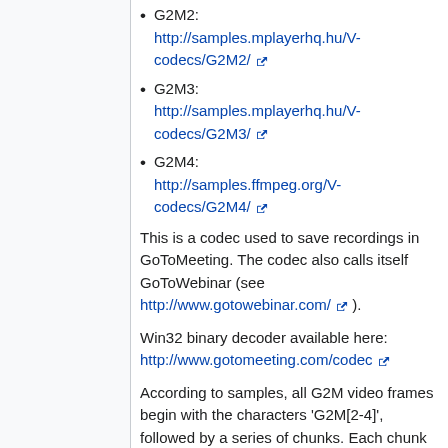G2M2: http://samples.mplayerhq.hu/V-codecs/G2M2/
G2M3: http://samples.mplayerhq.hu/V-codecs/G2M3/
G2M4: http://samples.ffmpeg.org/V-codecs/G2M4/
This is a codec used to save recordings in GoToMeeting. The codec also calls itself GoToWebinar (see http://www.gotowebinar.com/).
Win32 binary decoder available here: http://www.gotomeeting.com/codec
According to samples, all G2M video frames begin with the characters 'G2M[2-4]', followed by a series of chunks. Each chunk has the following layout: